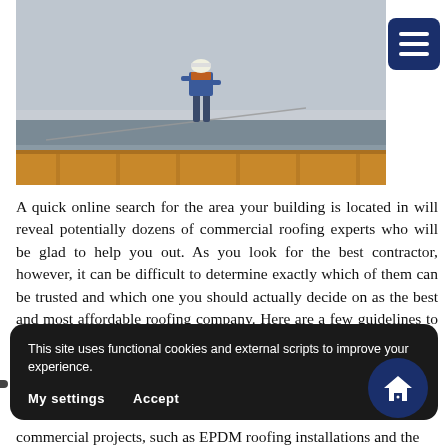[Figure (photo): A roofer wearing a hard hat and orange safety harness walks along the top of a flat commercial roof, holding a rope/safety line. The sky is overcast gray. The roof edge shows wooden framing below.]
A quick online search for the area your building is located in will reveal potentially dozens of commercial roofing experts who will be glad to help you out. As you look for the best contractor, however, it can be difficult to determine exactly which of them can be trusted and which one you should actually decide on as the best and most affordable roofing company. Here are a few guidelines to help you with the sorting process:
This site uses functional cookies and external scripts to improve your experience.
My settings   Accept
commercial projects, such as EPDM roofing installations and the